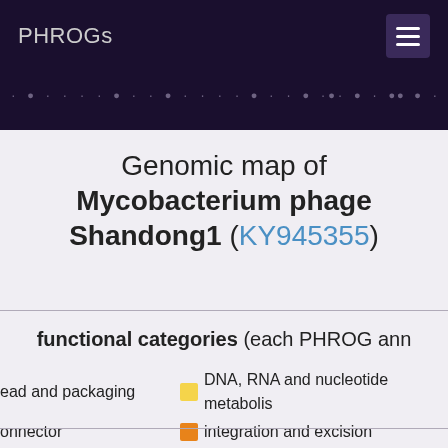PHROGs
Genomic map of Mycobacterium phage Shandong1 (KY945355)
functional categories (each PHROG ann…
head and packaging  |  DNA, RNA and nucleotide metabolism
connector  |  integration and excision
|  lysis